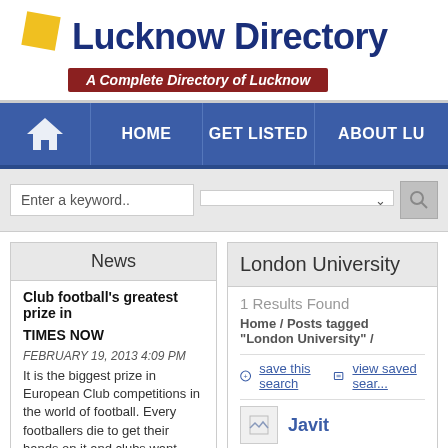[Figure (logo): Lucknow Directory logo with yellow diamond shape and dark blue bold text 'Lucknow Directory', with red tagline bar 'A Complete Directory of Lucknow']
HOME | GET LISTED | ABOUT LU
Enter a keyword..
News
Club football's greatest prize in
TIMES NOW
FEBRUARY 19, 2013 4:09 PM
It is the biggest prize in European Club competitions in the world of football. Every footballers die to get their hands on it and clubs want their names
London University
1 Results Found
Home / Posts tagged "London University" /
save this search   view saved sear...
Javit